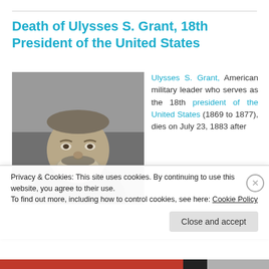Death of Ulysses S. Grant, 18th President of the United States
[Figure (photo): Black and white portrait photograph of Ulysses S. Grant, showing him from the chest up, wearing a dark suit with a bow tie and having a full beard.]
Ulysses S. Grant, American military leader who serves as the 18th president of the United States (1869 to 1877), dies on July 23, 1883 after
Privacy & Cookies: This site uses cookies. By continuing to use this website, you agree to their use.
To find out more, including how to control cookies, see here: Cookie Policy
Close and accept